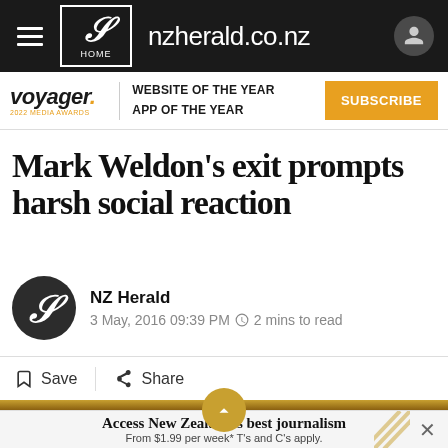nzherald.co.nz
[Figure (logo): Voyager 2022 Media Awards logo with text: WEBSITE OF THE YEAR, APP OF THE YEAR and SUBSCRIBE button]
Mark Weldon's exit prompts harsh social reaction
NZ Herald
3 May, 2016 09:39 PM  2 mins to read
Save  Share
Access New Zealand's best journalism
From $1.99 per week* T's and C's apply.